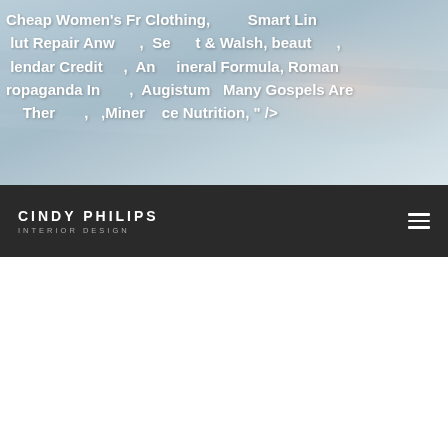[Figure (screenshot): Hero image area with blurred/light blue-grey background photo (appears to show a person), with overlaid bold white text containing spam/SEO keywords]
Cheap Women's Fr Clothing, Smart Line, Holut Repair Anwer, Selter & Walsh, beauty, Calendar Credit, Antler Mineral Formula, Roman Propaganda In, Augustum, Many Gospels Are There For, Minerice Nutrition, " />
[Figure (logo): CINDY PHILIPS INTERIOR DESIGN logo in white text on dark navigation bar]
CINDY PHILIPS
INTERIOR DESIGN